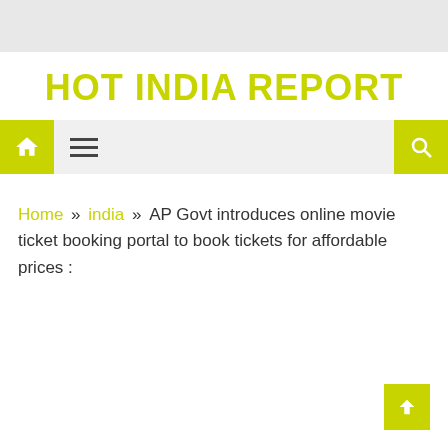HOT INDIA REPORT
Home » india » AP Govt introduces online movie ticket booking portal to book tickets for affordable prices :